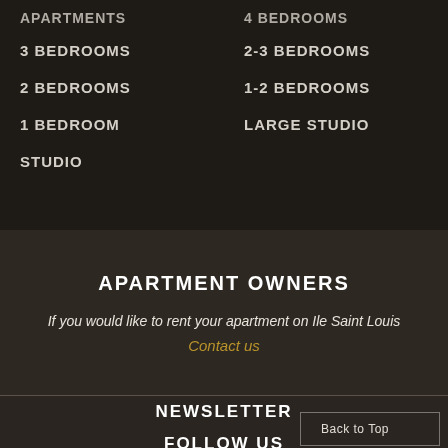APARTMENTS
4 BEDROOMS
3 BEDROOMS
2-3 BEDROOMS
2 BEDROOMS
1-2 BEDROOMS
1 BEDROOM
LARGE STUDIO
STUDIO
APARTMENT OWNERS
If you would like to rent your apartment on Ile Saint Louis
Contact us
NEWSLETTER
FOLLOW US
Back to Top